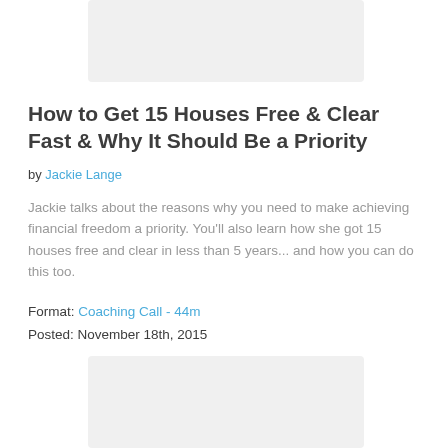[Figure (other): Grey placeholder image at top of page]
How to Get 15 Houses Free & Clear Fast & Why It Should Be a Priority
by Jackie Lange
Jackie talks about the reasons why you need to make achieving financial freedom a priority. You'll also learn how she got 15 houses free and clear in less than 5 years... and how you can do this too.
Format: Coaching Call - 44m
Posted: November 18th, 2015
[Figure (other): Grey placeholder image at bottom of page]